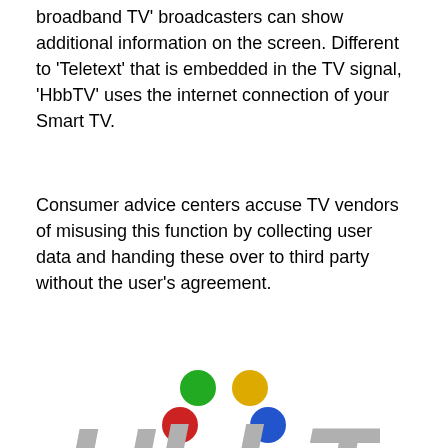broadband TV' broadcasters can show additional information on the screen. Different to 'Teletext' that is embedded in the TV signal, 'HbbTV' uses the internet connection of your Smart TV.
Consumer advice centers accuse TV vendors of misusing this function by collecting user data and handing these over to third party without the user's agreement.
[Figure (logo): HbbTV logo with four colored dots (green, yellow, red, blue) above large grey italic HbbTV text]
In case your TV set does not include this function yet, there are standalone add-on boxes available providing the HbbTV function. If you want to be on the safe side